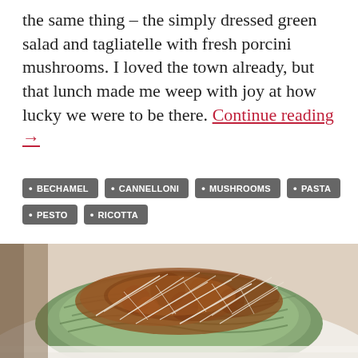the same thing – the simply dressed green salad and tagliatelle with fresh porcini mushrooms. I loved the town already, but that lunch made me weep with joy at how lucky we were to be there. Continue reading →
BECHAMEL
CANNELLONI
MUSHROOMS
PASTA
PESTO
RICOTTA
[Figure (photo): Close-up photo of a pasta dish — green cannelloni or pasta topped with meat sauce and shredded Parmesan cheese on a white plate.]